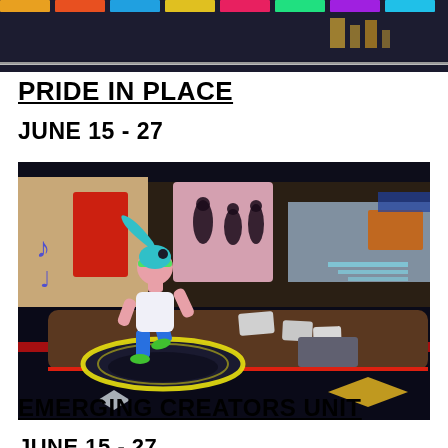[Figure (illustration): Top portion of a dark-themed event graphic, partially cropped, showing colorful gaming/entertainment scene with dark blue background and decorative elements.]
PRIDE IN PLACE
JUNE 15 - 27
[Figure (illustration): 3D rendered illustration showing a stylized female character with teal hair and pink skin, wearing a white top and blue shorts with green shoes, dancing or running on a glowing yellow circular platform. Background includes colorful panels with silhouette dancers, musical notes, and a dark dance floor setting.]
EMERGING CREATORS UNIT
JUNE 15 - 27